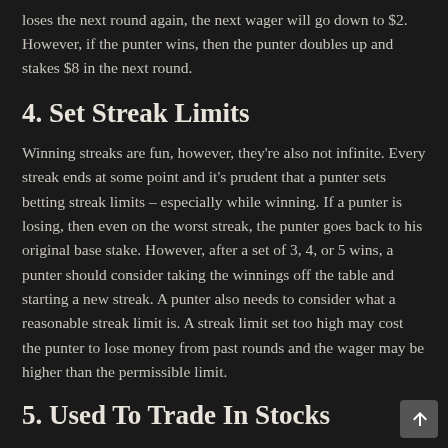loses the next round again, the next wager will go down to $2. However, if the punter wins, then the punter doubles up and stakes $8 in the next round.
4. Set Streak Limits
Winning streaks are fun, however, they're also not infinite. Every streak ends at some point and it's prudent that a punter sets betting streak limits – especially while winning. If a punter is losing, then even on the worst streak, the punter goes back to his original base stake. However, after a set of 3, 4, or 5 wins, a punter should consider taking the winnings off the table and starting a new streak. A punter also needs to consider what a reasonable streak limit is. A streak limit set too high may cost the punter to lose money from past rounds and the wager may be higher than the permissible limit.
5. Used To Trade In Stocks
The anti-Martingale betting strategy has theoretical and